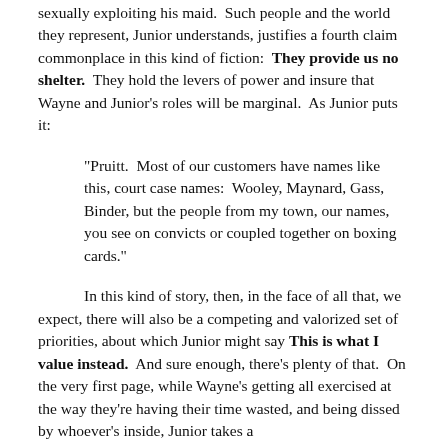sexually exploiting his maid. Such people and the world they represent, Junior understands, justifies a fourth claim commonplace in this kind of fiction: They provide us no shelter. They hold the levers of power and insure that Wayne and Junior's roles will be marginal. As Junior puts it:
"Pruitt. Most of our customers have names like this, court case names: Wooley, Maynard, Gass, Binder, but the people from my town, our names, you see on convicts or coupled together on boxing cards."
In this kind of story, then, in the face of all that, we expect, there will also be a competing and valorized set of priorities, about which Junior might say This is what I value instead. And sure enough, there's plenty of that. On the very first page, while Wayne's getting all exercised at the way they're having their time wasted, and being dissed by whoever's inside, Junior takes a